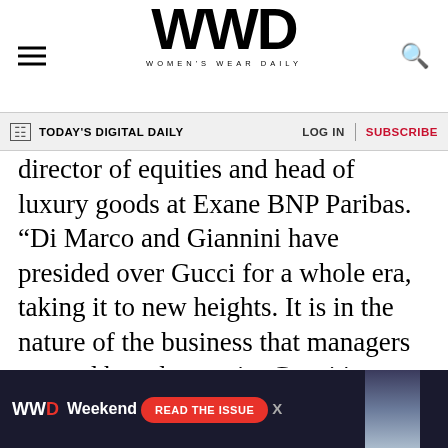WWD WOMEN'S WEAR DAILY
TODAY'S DIGITAL DAILY  LOG IN  SUBSCRIBE
director of equities and head of luxury goods at Exane BNP Paribas. “Di Marco and Giannini have presided over Gucci for a whole era, taking it to new heights. It is in the nature of the business that managers go, and brands remain. Gucci is one the most prominent luxury mega-brands. It will benefit from new ideas and fresh energy. The key to stay relevant in luxury goods is continuing reinvention. Marco Bizzarri is a proven team builder and a very good manager. He could take over the great work Patrizio had done at Bottega
[Figure (infographic): WWD Weekend advertisement banner with dark background, WWD logo, weekend text, and READ THE ISSUE red button with a fashion photo on the right side]